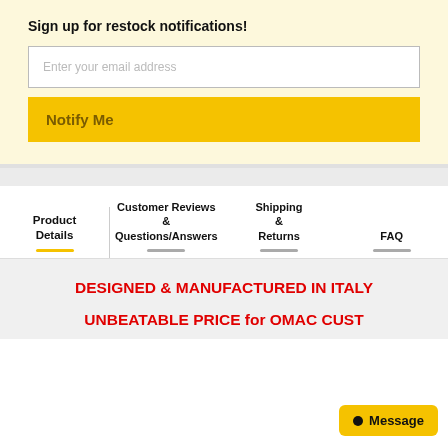Sign up for restock notifications!
Enter your email address
Notify Me
Product Details
Customer Reviews & Questions/Answers
Shipping & Returns
FAQ
DESIGNED & MANUFACTURED IN ITALY
UNBEATABLE PRICE for OMAC CUST…
Message